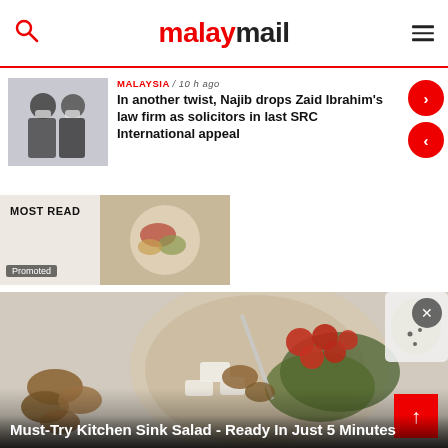malaymail
MALAYSIA / 10 h ago
In another twist, Najib drops Zaid Ibrahim's law firm as solicitors in last SRC International appeal
[Figure (photo): Thumbnail photo of two men in suits wearing face masks]
MOST READ
Promoted
[Figure (photo): Large food photo showing a salad bowl with tomatoes, walnuts, feta cheese and greens with a white dressing container]
Must-Try Kitchen Sink Salad - Ready In Just 5 Minutes